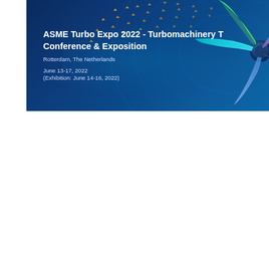[Figure (illustration): ASME Turbo Expo 2022 conference banner with dark blue gradient background, decorative dot/arrow pattern, and a colorful turbine blade illustration on the right side. Text overlay shows conference name, location (Rotterdam, The Netherlands), and dates (June 13-17, 2022, Exhibition: June 14-16, 2022).]